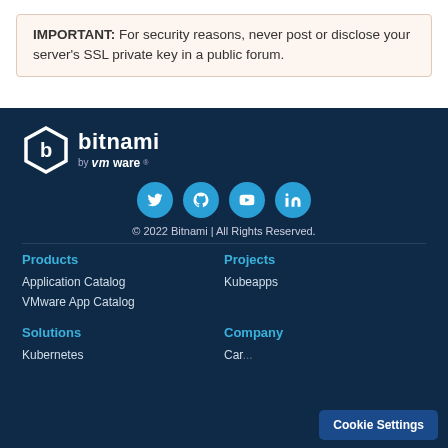IMPORTANT: For security reasons, never post or disclose your server's SSL private key in a public forum.
[Figure (logo): Bitnami by VMware logo with white hexagonal icon and bold white text]
[Figure (infographic): Social media icons: Twitter, GitHub, YouTube, LinkedIn — teal circles]
© 2022 Bitnami | All Rights Reserved.
Products
Application Catalog
VMware App Catalog
Projects
Kubeapps
Solutions
Kubernetes
Company
Car...
Cookie Settings